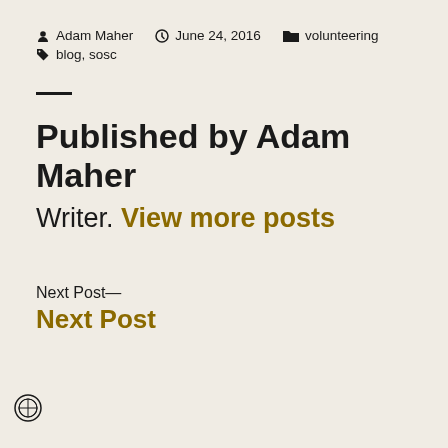Adam Maher   June 24, 2016   volunteering   blog, sosc
Published by Adam Maher
Writer. View more posts
Next Post—
Next Post